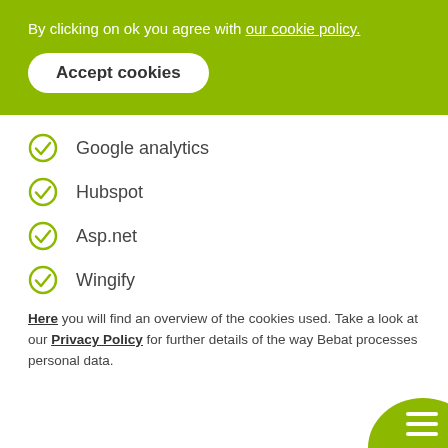By clicking on ok you agree with our cookie policy.
Accept cookies
Google analytics
Hubspot
Asp.net
Wingify
Here you will find an overview of the cookies used. Take a look at our Privacy Policy for further details of the way Bebat processes personal data.